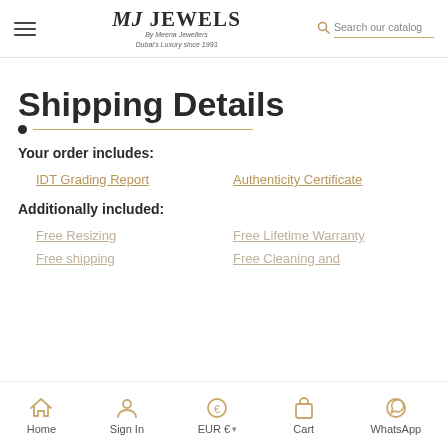[Figure (logo): MJ Jewels logo with hamburger menu and search bar in header]
Shipping Details
Your order includes:
IDT Grading Report
Authenticity Certificate
Additionally included:
Free Resizing
Free Lifetime Warranty
Free shipping
Free Cleaning and
Home  Sign In  EUR €  Cart  WhatsApp